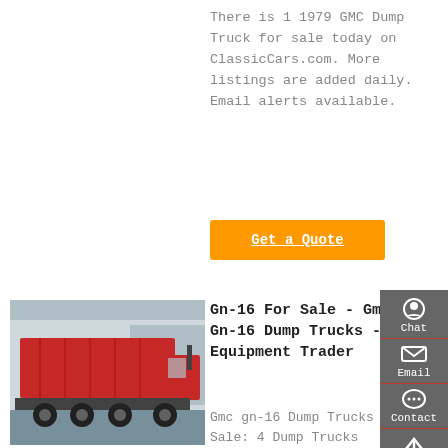There is 1 1979 GMC Dump Truck for sale today on ClassicCars.com. More listings are added daily. Email alerts available.
Get a Quote
[Figure (photo): Red GMC dump truck parked at a facility, side view.]
Gn-16 For Sale - Gmc Gn-16 Dump Trucks - Equipment Trader
Gmc gn-16 Dump Trucks For Sale: 4 Dump Trucks